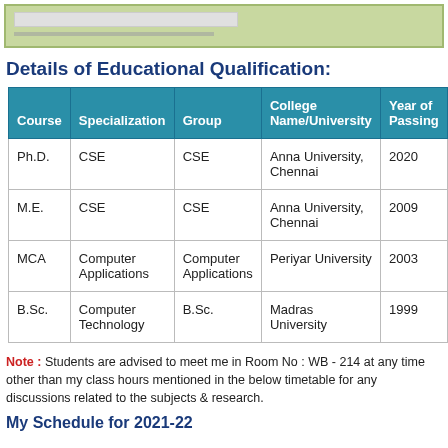Details of Educational Qualification:
| Course | Specialization | Group | College Name/University | Year of Passing |
| --- | --- | --- | --- | --- |
| Ph.D. | CSE | CSE | Anna University, Chennai | 2020 |
| M.E. | CSE | CSE | Anna University, Chennai | 2009 |
| MCA | Computer Applications | Computer Applications | Periyar University | 2003 |
| B.Sc. | Computer Technology | B.Sc. | Madras University | 1999 |
Note : Students are advised to meet me in Room No : WB - 214 at any time other than my class hours mentioned in the below timetable for any discussions related to the subjects & research.
My Schedule for 2021-22